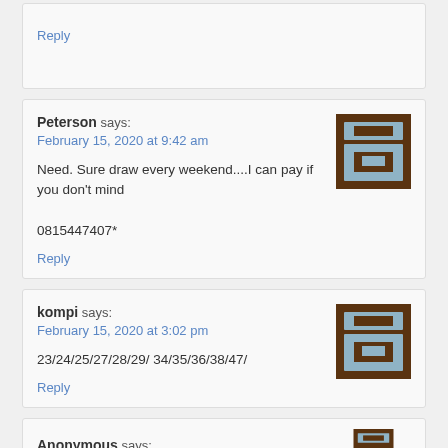Reply
Peterson says:
February 15, 2020 at 9:42 am
Need. Sure draw every weekend....I can pay if you don't mind
0815447407*
Reply
kompi says:
February 15, 2020 at 3:02 pm
23/24/25/27/28/29/ 34/35/36/38/47/
Reply
Anonymous says: